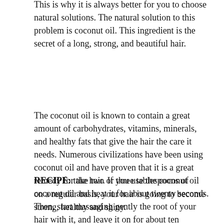This is why it is always better for you to choose natural solutions. The natural solution to this problem is coconut oil. This ingredient is the secret of a long, strong, and beautiful hair.
The coconut oil is known to contain a great amount of carbohydrates, vitamins, minerals, and healthy fats that give the hair the care it needs. Numerous civilizations have been using coconut oil and have proven that it is a great remedy for the hair. If you use the coconut oil on a regular basis, your hair is going to become strong, healthy and shiny.
RECIPE: take two or three tablespoons of coconut oil and heat it for about twenty seconds. Then, start massaging gently the root of your hair with it, and leave it on for about ten minutes so that the oil has enough time to work its magic. Then, rinse using warm water.